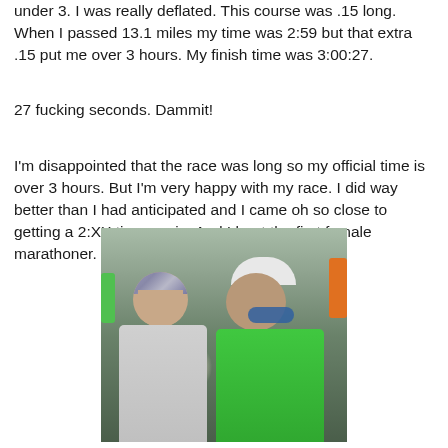under 3. I was really deflated. This course was .15 long. When I passed 13.1 miles my time was 2:59 but that extra .15 put me over 3 hours. My finish time was 3:00:27.
27 fucking seconds. Dammit!
I'm disappointed that the race was long so my official time is over 3 hours. But I'm very happy with my race. I did way better than I had anticipated and I came oh so close to getting a 2:XX time again. And I beat the first female marathoner. Woo hoo!
[Figure (photo): Two people posing together after a race. On the left is a woman wearing a bandana/head covering and a grey/white top, smiling. On the right is a man wearing a white cap and blue sunglasses with a bright green running shirt and a hydration pack. They are surrounded by a crowd of runners in what appears to be an outdoor race finish area.]